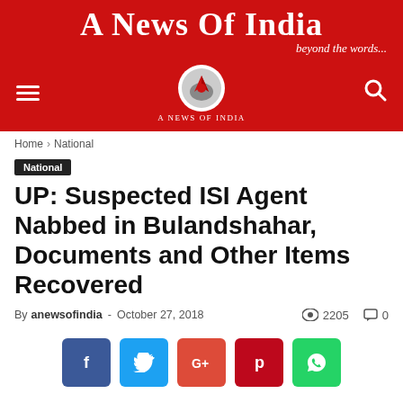A News Of India — beyond the words...
Home › National
National
UP: Suspected ISI Agent Nabbed in Bulandshahar, Documents and Other Items Recovered
By anewsofindia - October 27, 2018  2205  0
[Figure (infographic): Social sharing buttons: Facebook, Twitter, Google+, Pinterest, WhatsApp]